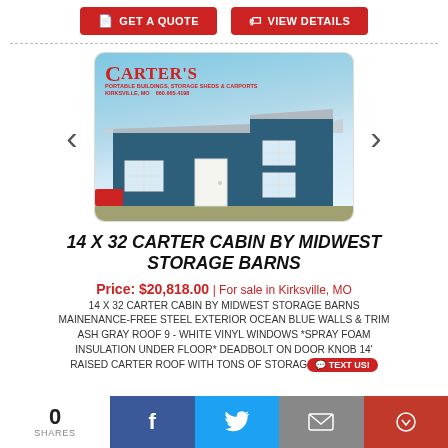[Figure (other): Two red buttons: GET A QUOTE and VIEW DETAILS]
[Figure (photo): Photo of a 14x32 Carter Cabin by Midwest Storage Barns — a blue steel building with white door and windows, Carter's logo in top left corner. Carousel with left and right arrow navigation.]
14 X 32 CARTER CABIN BY MIDWEST STORAGE BARNS
Price: $20,818.00 | For sale in Kirksville, MO
14 X 32 CARTER CABIN BY MIDWEST STORAGE BARNS MAINENANCE-FREE STEEL EXTERIOR OCEAN BLUE WALLS & TRIM ASH GRAY ROOF 9 - WHITE VINYL WINDOWS *SPRAY FOAM INSULATION UNDER FLOOR* DEADBOLT ON DOOR KNOB 14' RAISED CARTER ROOF WITH TONS OF STORAGE
0 SHARES
[Figure (other): Bottom social share bar with Facebook, Twitter, Email icons and Text us button]